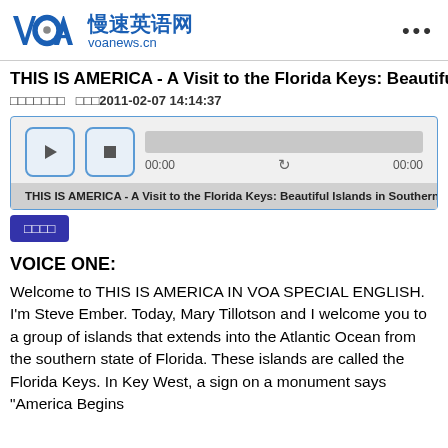VOA 慢速英语网 voanews.cn
THIS IS AMERICA - A Visit to the Florida Keys: Beautiful Islan…
□□□□□□□  □□□2011-02-07 14:14:37
[Figure (screenshot): Audio player widget with play/stop buttons, progress bar showing 00:00 / 00:00, and subtitle bar reading 'THIS IS AMERICA - A Visit to the Florida Keys: Beautiful Islands in Southern F...']
□□□□
VOICE ONE:
Welcome to THIS IS AMERICA IN VOA SPECIAL ENGLISH. I'm Steve Ember. Today, Mary Tillotson and I welcome you to a group of islands that extends into the Atlantic Ocean from the southern state of Florida. These islands are called the Florida Keys. In Key West, a sign on a monument says "America Begins